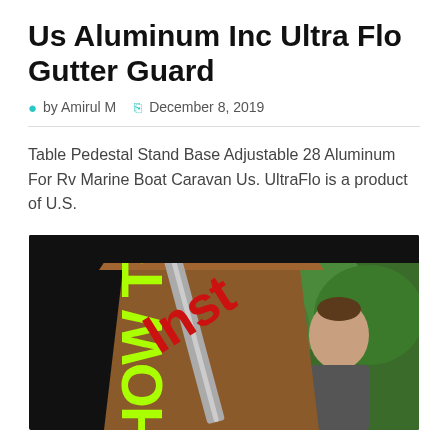Us Aluminum Inc Ultra Flo Gutter Guard
by Amirul M   December 8, 2019
Table Pedestal Stand Base Adjustable 28 Aluminum For Rv Marine Boat Caravan Us. UltraFlo is a product of U.S.
[Figure (photo): Video thumbnail showing a person outdoors with green trees behind them, large green 'HOW TO' text vertically on the left, and large red 'Install' text diagonally in the center over a roof/house background.]